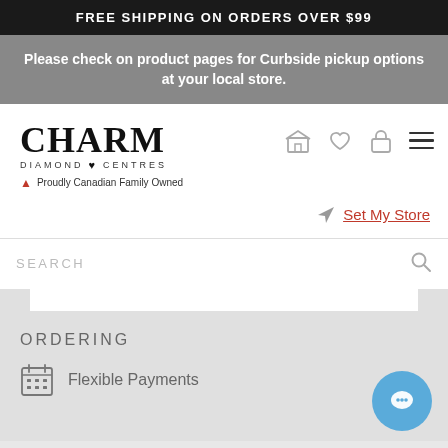FREE SHIPPING ON ORDERS OVER $99
Please check on product pages for Curbside pickup options at your local store.
[Figure (logo): Charm Diamond Centres logo with Proudly Canadian Family Owned tagline]
Set My Store
SEARCH
ORDERING
Flexible Payments